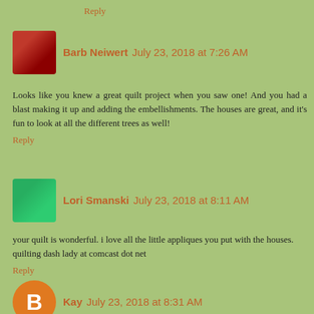Reply
Barb Neiwert July 23, 2018 at 7:26 AM
Looks like you knew a great quilt project when you saw one! And you had a blast making it up and adding the embellishments. The houses are great, and it's fun to look at all the different trees as well!
Reply
Lori Smanski July 23, 2018 at 8:11 AM
your quilt is wonderful. i love all the little appliques you put with the houses.
quilting dash lady at comcast dot net
Reply
Kay July 23, 2018 at 8:31 AM
Merry Christmas! Your quilt with all the wonderful embellishments makes me want to figure out paper piecing. What